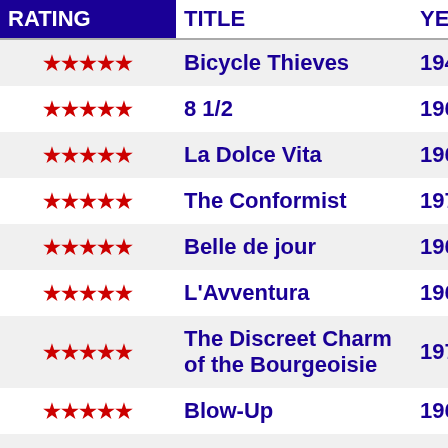| RATING | TITLE | YEAR |
| --- | --- | --- |
| ★★★★★ | Bicycle Thieves | 1948 |
| ★★★★★ | 8 1/2 | 1963 |
| ★★★★★ | La Dolce Vita | 1960 |
| ★★★★★ | The Conformist | 1970 |
| ★★★★★ | Belle de jour | 1967 |
| ★★★★★ | L'Avventura | 1960 |
| ★★★★★ | The Discreet Charm of the Bourgeoisie | 1972 |
| ★★★★★ | Blow-Up | 1966 |
| ★★★★★ | Rome Open City | 1945 |
| ★★★★★ | The Battle of Algiers | 1965 |